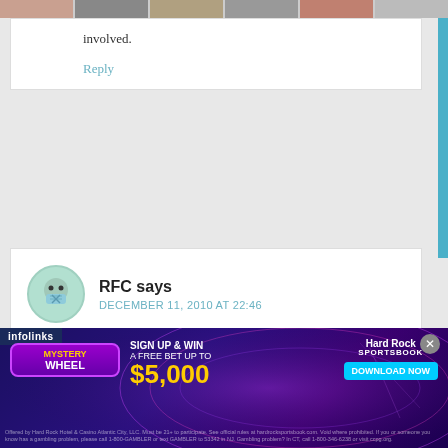[Figure (photo): Top strip of thumbnail avatar images]
involved.
Reply
RFC says
DECEMBER 11, 2010 AT 22:46
I recently applied for Patch.com for a few local editor positions near where I live. My work hours have been averaging 50 – 60 hours a week over since I graduated school 6
[Figure (infographic): Hard Rock Sportsbook advertisement banner - Mystery Wheel, Sign Up & Win A Free Bet Up To $5,000, Download Now button, infolinks label, close button]